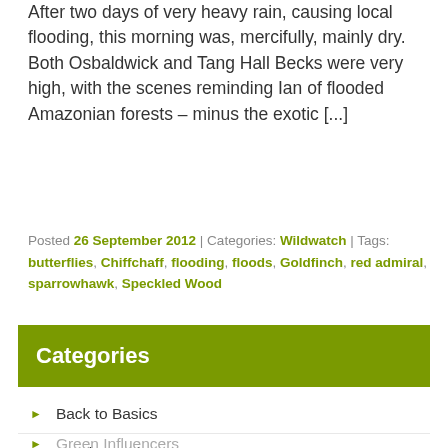After two days of very heavy rain, causing local flooding, this morning was, mercifully, mainly dry. Both Osbaldwick and Tang Hall Becks were very high, with the scenes reminding Ian of flooded Amazonian forests – minus the exotic [...]
Posted 26 September 2012 | Categories: Wildwatch | Tags: butterflies, Chiffchaff, flooding, floods, Goldfinch, red admiral, sparrowhawk, Speckled Wood
Categories
Back to Basics
Bearing Fruit
Derwenthorpe Wildwatch
Ecotherapy
Green Influencers